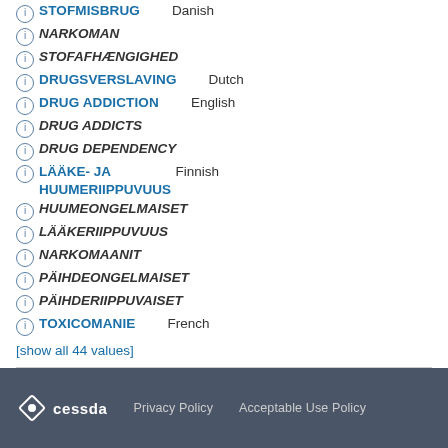ⓘ STOFMISBRUG  Danish
ⓘ NARKOMAN
ⓘ STOFAFHÆNGIGHED
ⓘ DRUGSVERSLAVING  Dutch
ⓘ DRUG ADDICTION  English
ⓘ DRUG ADDICTS
ⓘ DRUG DEPENDENCY
ⓘ LÄÄKE- JA HUUMERIIPPUVUUS  Finnish
ⓘ HUUMEONGELMAISET
ⓘ LÄÄKERIIPPUVUUS
ⓘ NARKOMAANIT
ⓘ PÄIHDEONGELMAISET
ⓘ PÄIHDERIIPPUVAISET
ⓘ TOXICOMANIE  French
[show all 44 values]
cessda  Privacy Policy  Acceptable Use Policy